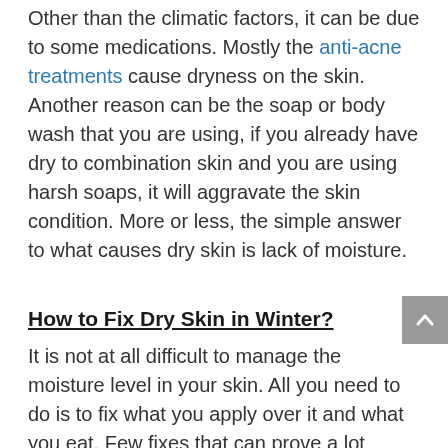Other than the climatic factors, it can be due to some medications. Mostly the anti-acne treatments cause dryness on the skin. Another reason can be the soap or body wash that you are using, if you already have dry to combination skin and you are using harsh soaps, it will aggravate the skin condition. More or less, the simple answer to what causes dry skin is lack of moisture.
How to Fix Dry Skin in Winter?
It is not at all difficult to manage the moisture level in your skin. All you need to do is to fix what you apply over it and what you eat. Few fixes that can prove a lot beneficial to fix even the red dry patches on face are as follows
Bath Products
Use a gentle, fragrance-free cleanser to clean